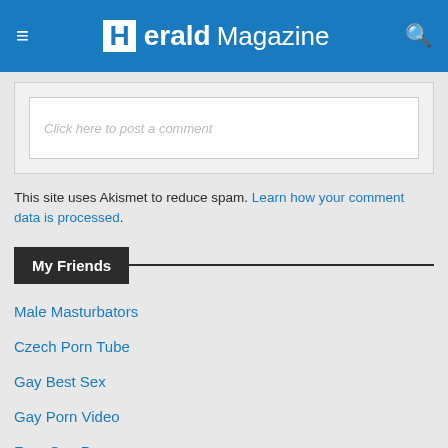Herald Magazine
Click here to post a comment
This site uses Akismet to reduce spam. Learn how your comment data is processed.
My Friends
Male Masturbators
Czech Porn Tube
Gay Best Sex
Gay Porn Video
Free Gay Porn
Free Czech Porn